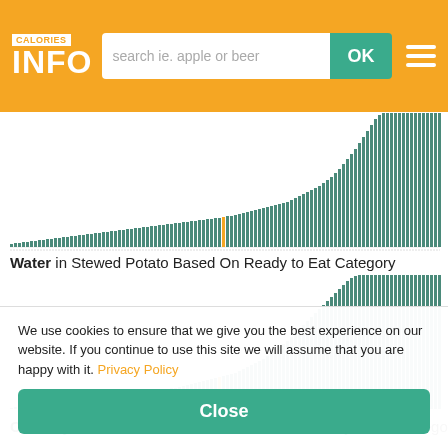CALORIES INFO - search ie. apple or beer - OK
[Figure (bar-chart): Ascending bar chart showing water content across many food items in the Stewed Potato Based On Ready to Eat category. One bar is highlighted in orange.]
Water in Stewed Potato Based On Ready to Eat Category
[Figure (bar-chart): Ascending bar chart showing carbohydrates content across many food items in the Stewed Potato Based On Ready to Eat category. One bar is highlighted in orange.]
Carbohydrates in Stewed Potato Based On Ready to Eat Category
We use cookies to ensure that we give you the best experience on our website. If you continue to use this site we will assume that you are happy with it. Privacy Policy
Close